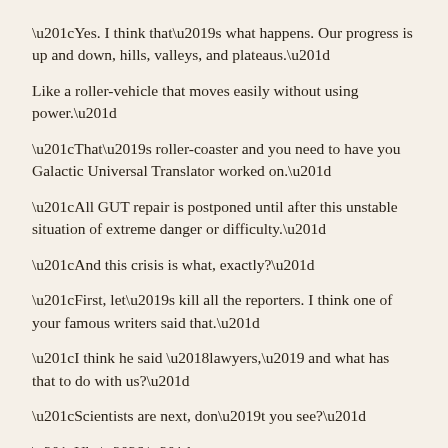“Yes. I think that’s what happens. Our progress is up and down, hills, valleys, and plateaus.”
Like a roller-vehicle that moves easily without using power.”
“That’s roller-coaster and you need to have you Galactic Universal Translator worked on.”
“All GUT repair is postponed until after this unstable situation of extreme danger or difficulty.”
“And this crisis is what, exactly?”
“First, let’s kill all the reporters. I think one of your famous writers said that.”
“I think he said ‘lawyers,’ and what has that to do with us?”
“Scientists are next, don’t you see?”
“Uh, …,”